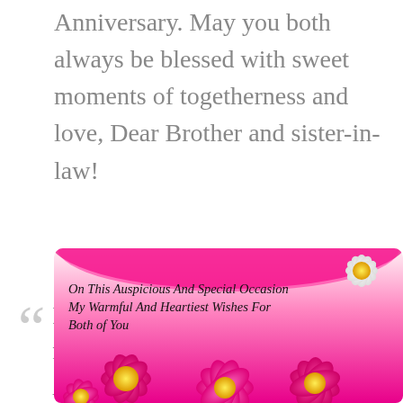Anniversary. May you both always be blessed with sweet moments of togetherness and love, Dear Brother and sister-in-law!
Happy Anniversary and May your marriage blessed with love Joy And companionship For all the Years of your lives!
[Figure (illustration): Floral greeting card with pink and white flowers (cosmos/daisy style). Text on card reads: 'On This Auspicious And Special Occasion My Warmful And Heartiest Wishes For Both of You'. Pink arc/banner at top of card. Large vivid pink flowers at bottom and a white flower top right.]